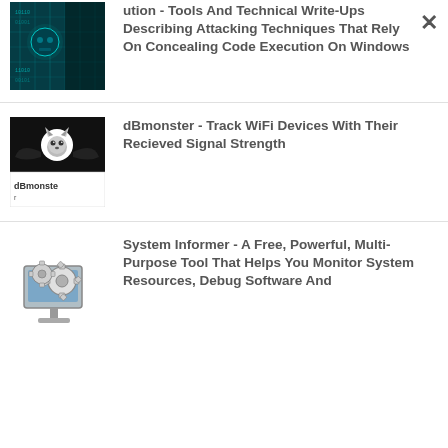ution - Tools And Technical Write-Ups Describing Attacking Techniques That Rely On Concealing Code Execution On Windows
dBmonster - Track WiFi Devices With Their Recieved Signal Strength
System Informer - A Free, Powerful, Multi-Purpose Tool That Helps You Monitor System Resources, Debug Software And